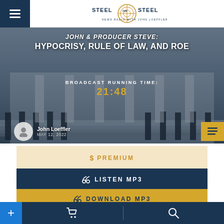Steel on Steel – News Radio with John Loeffler
[Figure (screenshot): Hero banner with courthouse background showing episode title 'John & Producer Steve: Hypocrisy, Rule of Law, and Roe' with broadcast running time 21:48, and author info for John Loeffler dated May 12, 2022]
$ PREMIUM
🎧 LISTEN MP3
🎧 DOWNLOAD MP3
+ cart search